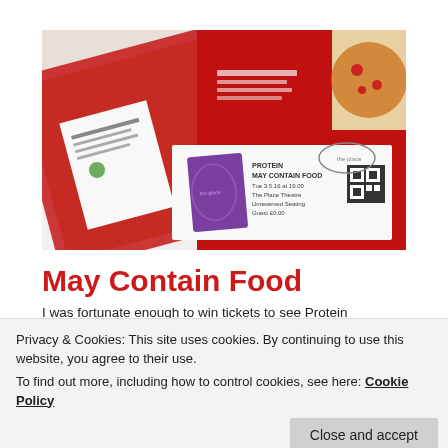[Figure (photo): Photo of food packaging items spread on a white surface, including red plastic packages with nutritional labels, a purple notebook, and a concert ticket reading 'PROTEIN MAY CONTAIN FOOD, Tue 3.5.16 at 19.00, The Place Theatre, Unreserved Seating, Guest, £0.00' with a QR code.]
May Contain Food
I was fortunate enough to win tickets to see Protein
Privacy & Cookies: This site uses cookies. By continuing to use this website, you agree to their use.
To find out more, including how to control cookies, see here: Cookie Policy